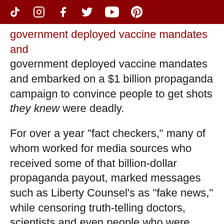Social media icons bar (TikTok, Instagram, Facebook, Twitter, YouTube, Pinterest)
government deployed vaccine mandates and embarked on a $1 billion propaganda campaign to convince people to get shots they knew were deadly.
For over a year "fact checkers," many of whom worked for media sources who received some of that billion-dollar propaganda payout, marked messages such as Liberty Counsel's as "fake news," while censoring truth-telling doctors, scientists and even people who were injured from the shots.
Despite the evidence, the mandates and vaccine passports continue.